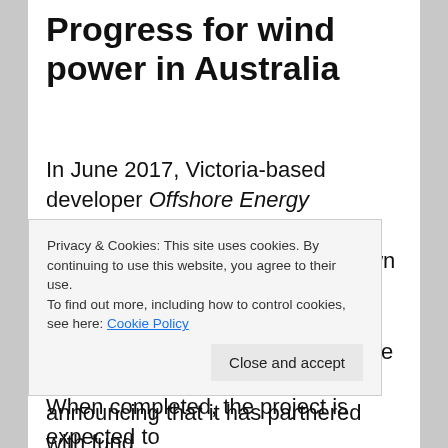Progress for wind power in Australia
In June 2017, Victoria-based developer Offshore Energy announced plans to develop a two GW offshore wind farm to be known as 'Star of the South', and to be located off the coast of Victoria in Bass Strait. Since then, things have progressed, with Offshore Energy announcing that it has partnered with fund
Privacy & Cookies: This site uses cookies. By continuing to use this website, you agree to their use.
To find out more, including how to control cookies, see here: Cookie Policy
Close and accept
When completed, the project is expected to